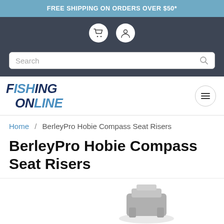FREE SHIPPING ON ORDERS OVER $50*
[Figure (screenshot): Navigation icons: shopping cart and user/account icons in white circles on dark background, plus a search bar below]
[Figure (logo): Fishing Online logo in italic bold text, dark navy and steel blue colors, two-line layout: FISHING / ONLINE]
Home / BerleyPro Hobie Compass Seat Risers
BerleyPro Hobie Compass Seat Risers
[Figure (photo): Partial product image of BerleyPro Hobie Compass Seat Risers, showing grey metal/plastic riser components at bottom of frame]